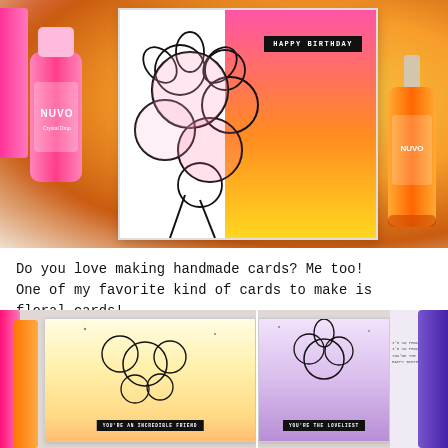[Figure (photo): Photo of a handmade Happy Birthday floral card with pink and orange-yellow gradient background, surrounded by Nuvo Crystal Drop bottles in pink and orange colors]
Do you love making handmade cards? Me too! One of my favorite kind of cards to make is floral cards!
[Figure (photo): Three handmade floral cards side by side: one yellow with 'YOU'RE AN INCREDIBLE FRIEND', one purple with 'YOU'RE THE LOVELIEST', and one partially visible, surrounded by colorful ink pens]